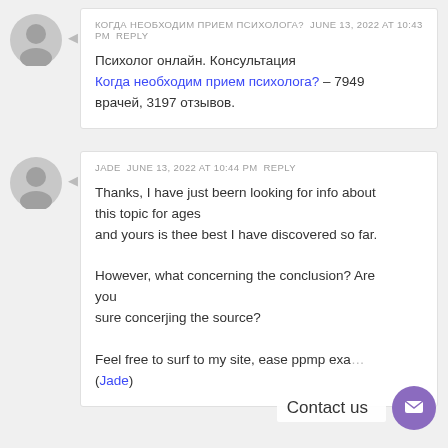КОГДА НЕОБХОДИМ ПРИЕМ ПСИХОЛОГА?  JUNE 13, 2022 AT 10:43 PM  REPLY
Психолог онлайн. Консультация Когда необходим прием психолога? – 7949 врачей, 3197 отзывов.
JADE  JUNE 13, 2022 AT 10:44 PM  REPLY
Thanks, I have just beern looking for info about this topic for ages and yours is thee best I have discovered so far.

However, what concerning the conclusion? Are you sure concerjing the source?

Feel free to surf to my site, ease ppmp exa... (Jade)